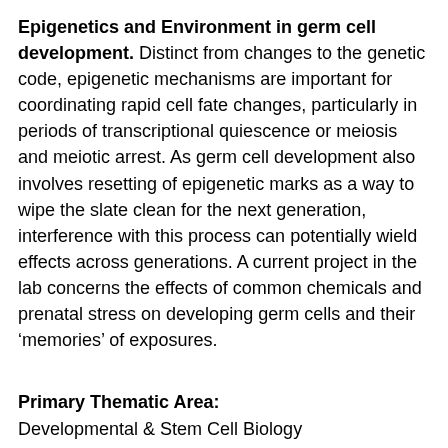Epigenetics and Environment in germ cell development. Distinct from changes to the genetic code, epigenetic mechanisms are important for coordinating rapid cell fate changes, particularly in periods of transcriptional quiescence or meiosis and meiotic arrest. As germ cell development also involves resetting of epigenetic marks as a way to wipe the slate clean for the next generation, interference with this process can potentially wield effects across generations. A current project in the lab concerns the effects of common chemicals and prenatal stress on developing germ cells and their ‘memories’ of exposures.
Primary Thematic Area: Developmental & Stem Cell Biology
Secondary Thematic Area: Cancer Biology & Cell Signaling
Research Summary: Genetic and environmental mechanisms of germline development
Mentorship Development: